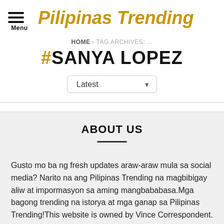Pilipinas Trending
HOME › TAG ARCHIVES: ...
#SANYA LOPEZ
Latest
ABOUT US
Gusto mo ba ng fresh updates araw-araw mula sa social media? Narito na ang Pilipinas Trending na magbibigay aliw at impormasyon sa aming mangbababasa.Mga bagong trending na istorya at mga ganap sa Pilipinas Trending!This website is owned by Vince Correspondent.